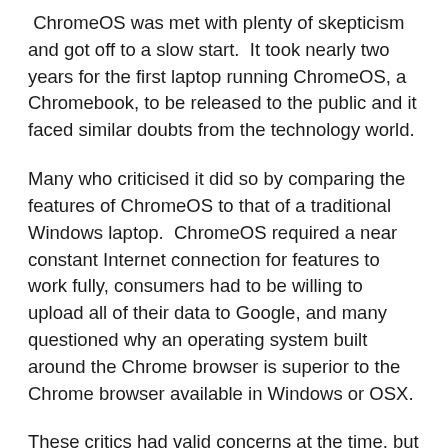ChromeOS was met with plenty of skepticism and got off to a slow start.  It took nearly two years for the first laptop running ChromeOS, a Chromebook, to be released to the public and it faced similar doubts from the technology world.
Many who criticised it did so by comparing the features of ChromeOS to that of a traditional Windows laptop.  ChromeOS required a near constant Internet connection for features to work fully, consumers had to be willing to upload all of their data to Google, and many questioned why an operating system built around the Chrome browser is superior to the Chrome browser available in Windows or OSX.
These critics had valid concerns at the time, but a lot has changed since the early days of ChromeOS.  The Internet ecosystem which provides the backbone for a browser-